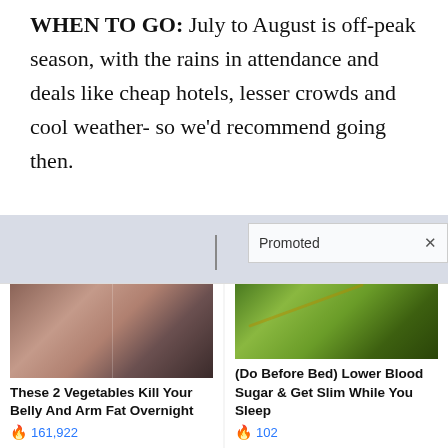WHEN TO GO: July to August is off-peak season, with the rains in attendance and deals like cheap hotels, lesser crowds and cool weather- so we'd recommend going then.
[Figure (photo): Partial advertisement banner image with a light blue/grey background, showing part of a street lamp and a bowl partially visible, with a 'Promoted X' overlay badge in the bottom right.]
[Figure (photo): Advertisement image showing the backs of two women in black bras, a before-and-after style comparison photo.]
These 2 Vegetables Kill Your Belly And Arm Fat Overnight
🔥 161,922
[Figure (photo): Advertisement image showing close-up of green plant stems and leaves, likely representing vegetables.]
(Do Before Bed) Lower Blood Sugar & Get Slim While You Sleep
🔥 102